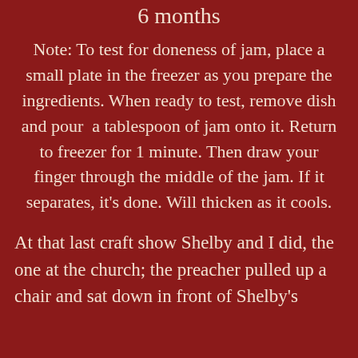6 months
Note: To test for doneness of jam, place a small plate in the freezer as you prepare the ingredients. When ready to test, remove dish and pour  a tablespoon of jam onto it. Return to freezer for 1 minute. Then draw your finger through the middle of the jam. If it separates, it's done. Will thicken as it cools.
At that last craft show Shelby and I did, the one at the church; the preacher pulled up a chair and sat down in front of Shelby's